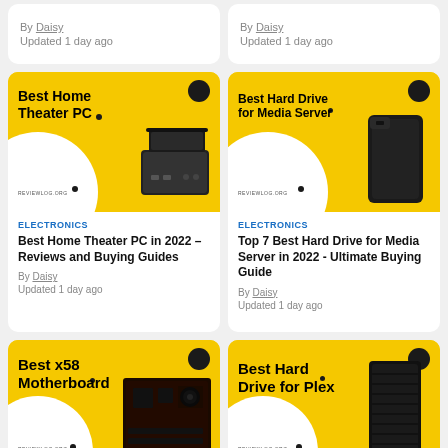By Daisy
Updated 1 day ago
By Daisy
Updated 1 day ago
[Figure (illustration): Yellow background card image with Best Home Theater PC text and PC product photo]
ELECTRONICS
Best Home Theater PC in 2022 – Reviews and Buying Guides
By Daisy
Updated 1 day ago
[Figure (illustration): Yellow background card image with Best Hard Drive for Media Server text and external hard drive photo]
ELECTRONICS
Top 7 Best Hard Drive for Media Server in 2022 - Ultimate Buying Guide
By Daisy
Updated 1 day ago
[Figure (illustration): Yellow background card image with Best x58 Motherboard text and motherboard photo - partial]
[Figure (illustration): Yellow background card image with Best Hard Drive for Plex text and hard drive photo - partial]